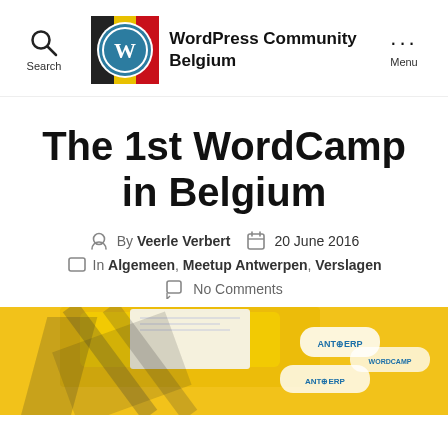WordPress Community Belgium
The 1st WordCamp in Belgium
By Veerle Verbert  20 June 2016
In Algemeen, Meetup Antwerpen, Verslagen
No Comments
[Figure (photo): Yellow background with WordCamp Antwerp merchandise including a t-shirt and stickers/badges on a yellow surface]